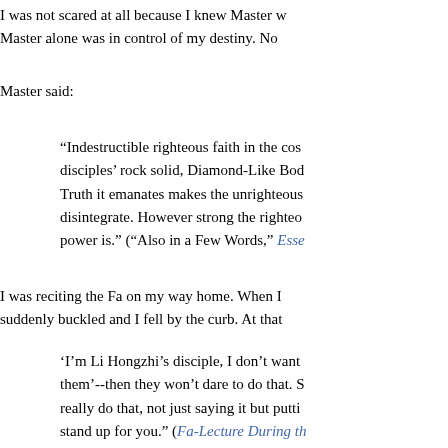I was not scared at all because I knew Master w... Master alone was in control of my destiny. No...
Master said:
“Indestructible righteous faith in the cos... disciples’ rock solid, Diamond-Like Bod... Truth it emanates makes the unrighteous... disintegrate. However strong the righteo... power is.” (“Also in a Few Words,” Esse...
I was reciting the Fa on my way home. When I... suddenly buckled and I fell by the curb. At that...
‘I’m Li Hongzhi’s disciple, I don't want... them’--then they won’t dare to do that. S... really do that, not just saying it but putti... stand up for you.” (Fa-Lecture During th... Fa Conference)